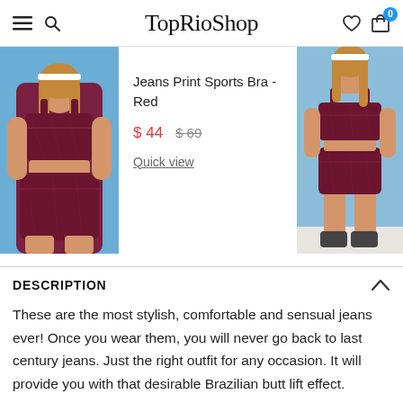TopRioShop
[Figure (photo): Woman wearing red jeans print sports bra and matching shorts, posing against blue sky background - left product image]
Jeans Print Sports Bra - Red
$ 44  $69
Quick view
[Figure (photo): Woman wearing red jeans print sports bra and matching shorts, full body pose against blue sky - right product image]
DESCRIPTION
These are the most stylish, comfortable and sensual jeans ever! Once you wear them, you will never go back to last century jeans. Just the right outfit for any occasion. It will provide you with that desirable Brazilian butt lift effect.